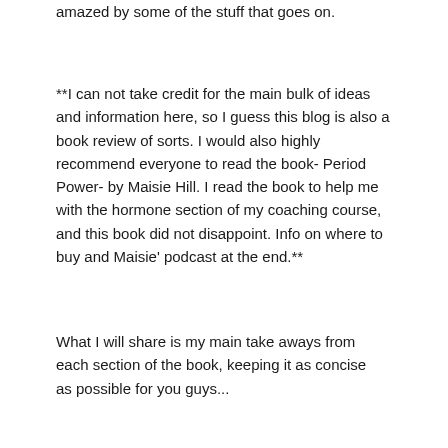amazed by some of the stuff that goes on.
**I can not take credit for the main bulk of ideas and information here, so I guess this blog is also a book review of sorts. I would also highly recommend everyone to read the book- Period Power- by Maisie Hill. I read the book to help me with the hormone section of my coaching course, and this book did not disappoint. Info on where to buy and Maisie' podcast at the end.**
What I will share is my main take aways from each section of the book, keeping it as concise as possible for you guys...